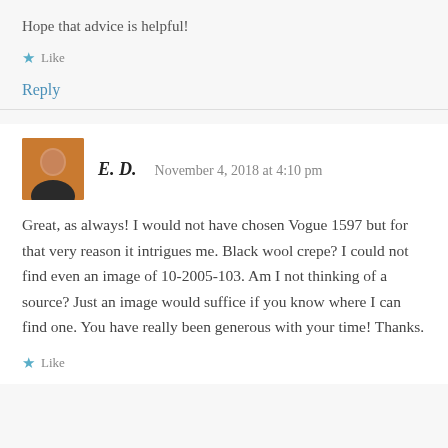Hope that advice is helpful!
★ Like
Reply
E. D.   November 4, 2018 at 4:10 pm
Great, as always! I would not have chosen Vogue 1597 but for that very reason it intrigues me. Black wool crepe? I could not find even an image of 10-2005-103. Am I not thinking of a source? Just an image would suffice if you know where I can find one. You have really been generous with your time! Thanks.
★ Like